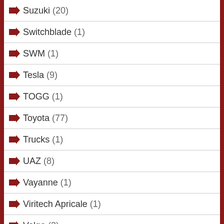Suzuki (20)
Switchblade (1)
SWM (1)
Tesla (9)
TOGG (1)
Toyota (77)
Trucks (1)
UAZ (8)
Vayanne (1)
Viritech Apricale (1)
Volga (2)
Volkswagen (72)
Volvo (17)
Voyah (1)